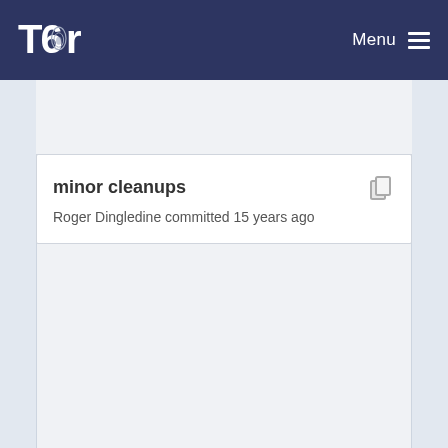Tor — Menu
minor cleanups
Roger Dingledine committed 15 years ago